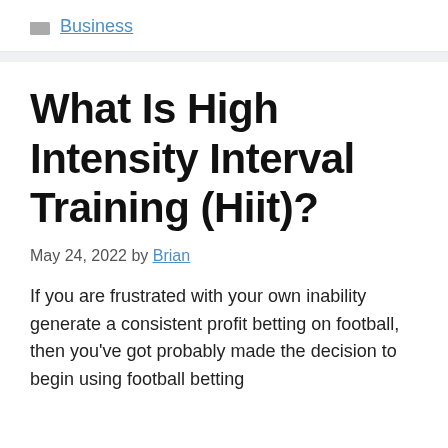Business
What Is High Intensity Interval Training (Hiit)?
May 24, 2022 by Brian
If you are frustrated with your own inability generate a consistent profit betting on football, then you've got probably made the decision to begin using football betting